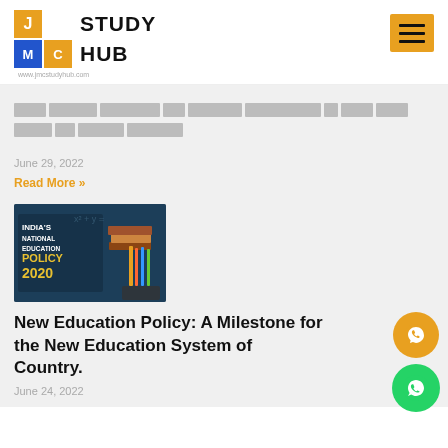[Figure (logo): JMC Study Hub logo with colored letter blocks J (gold), M (blue), C (gold) and bold text STUDY HUB, website url www.jmcstudyhub.com below]
[Hindi text - article title in Devanagari script]
June 29, 2022
Read More »
[Figure (photo): India's National Education Policy 2020 - dark background with books and pencils, text overlay reading INDIA'S NATIONAL EDUCATION POLICY 2020]
New Education Policy: A Milestone for the New Education System of Country.
June 24, 2022